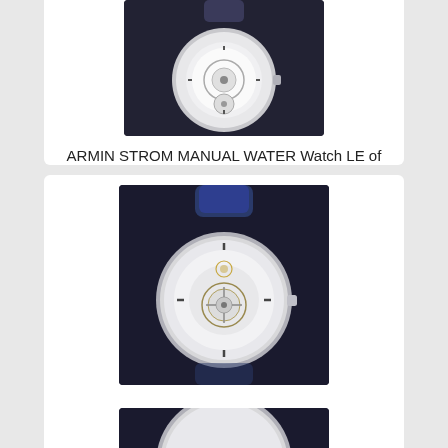[Figure (photo): Armin Strom watch with skeleton dial and transparent mechanism, top partially cropped]
ARMIN STROM MANUAL WATER Watch LE of 100 ST11-MW.05 43.4mm Manual Wind NEW
[Figure (photo): Armin Strom watch with skeleton dial and blue strap, front view]
ARMIN STROM MANUAL WATER Watch LE of 100 ST11-MW.05 43.4mm Manual Wind NEW
[Figure (photo): Armin Strom watch, partially visible at bottom of page]